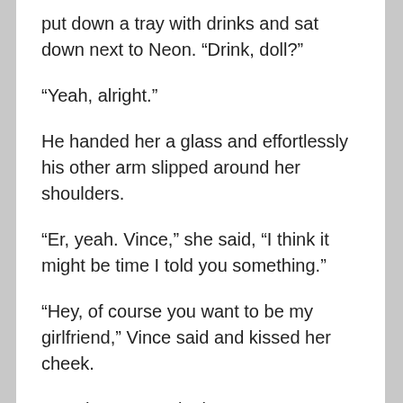put down a tray with drinks and sat down next to Neon. “Drink, doll?”
“Yeah, alright.”
He handed her a glass and effortlessly his other arm slipped around her shoulders.
“Er, yeah. Vince,” she said, “I think it might be time I told you something.”
“Hey, of course you want to be my girlfriend,” Vince said and kissed her cheek.
“No, that’s not quite it.”
“You don’t want to be my girlfriend? Everyone wants to be my girlfriend.”